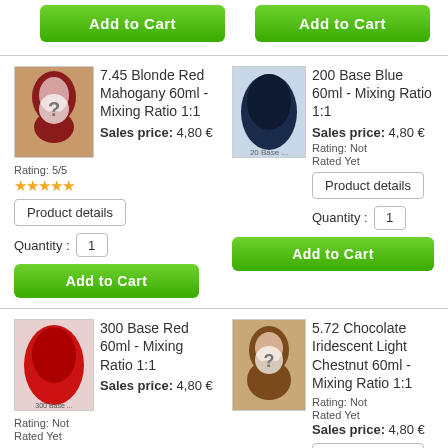[Figure (other): Add to Cart button (green, top left)]
[Figure (other): Add to Cart button (green, top right)]
[Figure (photo): Woman with red/auburn hair, question mark overlay]
7.45 Blonde Red Mahogany 60ml - Mixing Ratio 1:1
Sales price: 4,80 €
Rating: 5/5
[Figure (other): Five gold star rating icons]
[Figure (other): Product details button]
Quantity : 1
[Figure (other): Add to Cart button (green)]
[Figure (photo): Hair color swatch - dark blue/black]
200 Base Blue 60ml - Mixing Ratio 1:1
Sales price: 4,80 €
Rating: Not Rated Yet
[Figure (other): Product details button]
Quantity : 1
[Figure (other): Add to Cart button (green, right side)]
[Figure (photo): Hair color swatch - red/crimson]
300 Base Red 60ml - Mixing Ratio 1:1
Sales price: 4,80 €
Rating: Not Rated Yet
[Figure (other): Product details button]
Quantity : 1
[Figure (other): Add to Cart button (green, partial)]
[Figure (photo): Woman with brown wavy hair, question mark overlay]
5.72 Chocolate Iridescent Light Chestnut 60ml - Mixing Ratio 1:1
Sales price: 4,80 €
Rating: Not Rated Yet
[Figure (other): Product details button]